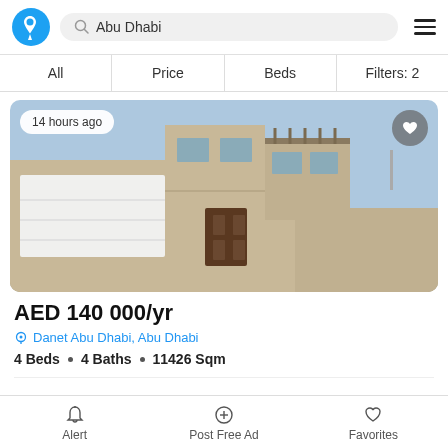Abu Dhabi
All  Price  Beds  Filters: 2
[Figure (photo): Exterior photo of a modern two-storey villa with a large white garage door and gated entrance, taken 14 hours ago]
AED 140 000/yr
Danet Abu Dhabi, Abu Dhabi
4 Beds • 4 Baths • 11426 Sqm
Alert  Post Free Ad  Favorites